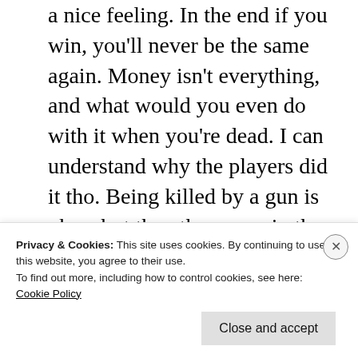a nice feeling. In the end if you win, you'll never be the same again. Money isn't everything, and what would you even do with it when you're dead. I can understand why the players did it tho. Being killed by a gun is okay, but the other ways in the series is no-no.
Reply
[Figure (photo): Small circular avatar/profile photo at bottom of comment section]
Privacy & Cookies: This site uses cookies. By continuing to use this website, you agree to their use.
To find out more, including how to control cookies, see here:
Cookie Policy
Close and accept